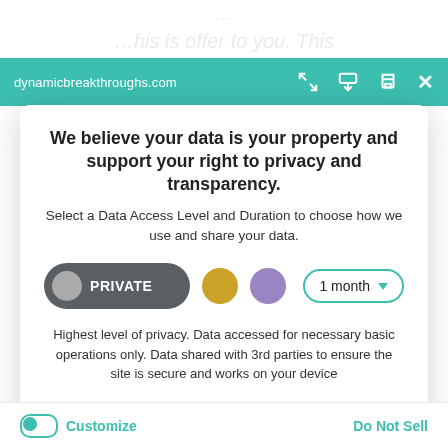dynamicbreakthroughs.com
We believe your data is your property and support your right to privacy and transparency.
Select a Data Access Level and Duration to choose how we use and share your data.
PRIVATE  [gold dot]  [lavender dot]  1 month ▾
Highest level of privacy. Data accessed for necessary basic operations only. Data shared with 3rd parties to ensure the site is secure and works on your device
Save my preferences
Customize   Do Not Sell